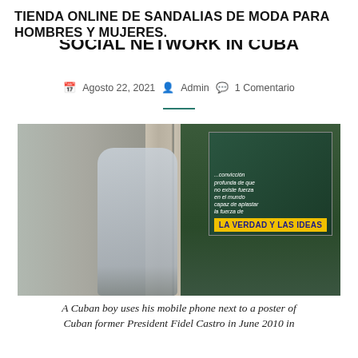TIENDA ONLINE DE SANDALIAS DE MODA PARA HOMBRES Y MUJERES.
SOCIAL NETWORK IN CUBA
Agosto 22, 2021   Admin   1 Comentario
[Figure (photo): A Cuban boy uses his mobile phone while leaning against a wall next to a poster of Cuban former President Fidel Castro. The poster shows Castro smiling with text reading '...convicción profunda de que no existe fuerza en el mundo capaz de aplastar la fuerza de LA VERDAD Y LAS IDEAS'. The boy is wearing a light blue shirt and looking down at his phone. Behind him is a wooden fence.]
A Cuban boy uses his mobile phone next to a poster of Cuban former President Fidel Castro in June 2010 in